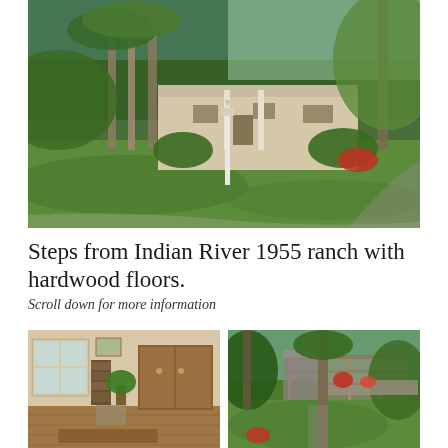[Figure (photo): Exterior view of a 1955 ranch-style house with white facade, large green lawn, tall palm and deciduous trees, landscaped shrubs and flowers, a white lamppost in front, and a driveway curving to the right.]
Steps from Indian River 1955 ranch with hardwood floors.
Scroll down for more information
[Figure (photo): Interior living room of the ranch house showing hardwood floors, wooden furniture including a large armoire and coffee table, a bookshelf, houseplant, and bright windows.]
[Figure (photo): Backyard garden area with a pergola or fence structure, lush tropical greenery, palm trees, and colorful flowers including red blooms.]